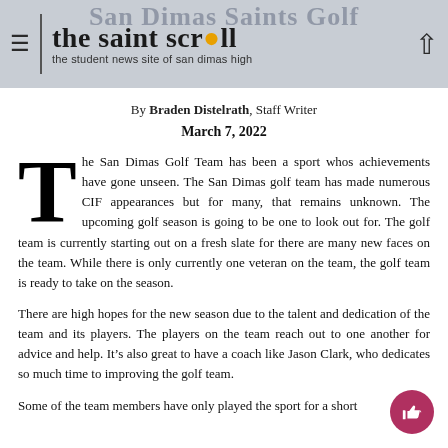San Dimas Saints Golf | the saint scroll — the student news site of san dimas high
By Braden Distelrath, Staff Writer
March 7, 2022
The San Dimas Golf Team has been a sport whos achievements have gone unseen. The San Dimas golf team has made numerous CIF appearances but for many, that remains unknown. The upcoming golf season is going to be one to look out for. The golf team is currently starting out on a fresh slate for there are many new faces on the team. While there is only currently one veteran on the team, the golf team is ready to take on the season.
There are high hopes for the new season due to the talent and dedication of the team and its players. The players on the team reach out to one another for advice and help. It’s also great to have a coach like Jason Clark, who dedicates so much time to improving the golf team.
Some of the team members have only played the sport for a short